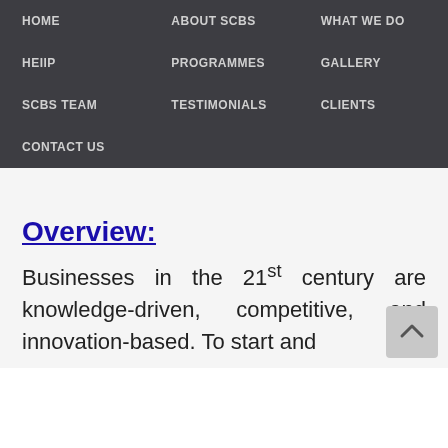HOME
ABOUT SCBS
WHAT WE DO
HEIIP
PROGRAMMES
GALLERY
SCBS TEAM
TESTIMONIALS
CLIENTS
CONTACT US
Overview:
Businesses in the 21st century are knowledge-driven, competitive, and innovation-based. To start and